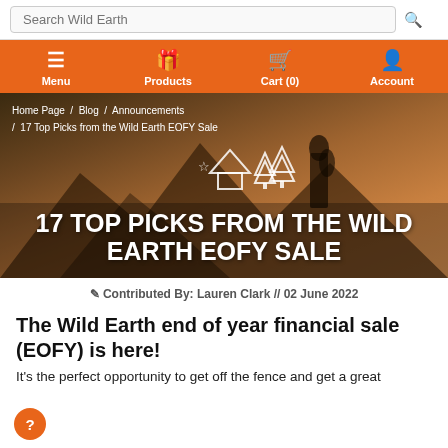Search Wild Earth
Menu  Products  Cart (0)  Account
Home Page / Blog / Announcements / 17 Top Picks from the Wild Earth EOFY Sale
17 TOP PICKS FROM THE WILD EARTH EOFY SALE
Contributed By: Lauren Clark // 02 June 2022
The Wild Earth end of year financial sale (EOFY) is here!
It's the perfect opportunity to get off the fence and get a great